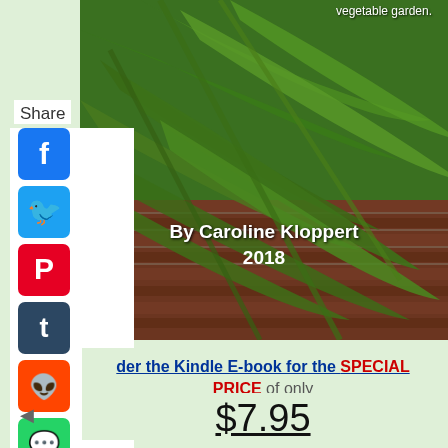[Figure (photo): Photo of bamboo-like green leaves against an old brick wall, with overlay text 'By Caroline Kloppert 2018']
Share
[Figure (infographic): Social sharing sidebar with icons for Facebook, Twitter, Pinterest, Tumblr, Reddit, WhatsApp, and Messenger]
der the Kindle E-book for the SPECIAL PRICE of only
$7.95